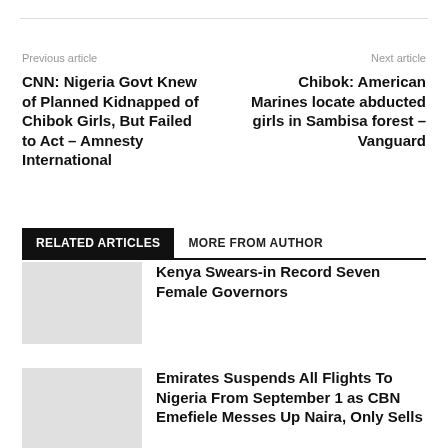Previous article
Next article
CNN: Nigeria Govt Knew of Planned Kidnapped of Chibok Girls, But Failed to Act – Amnesty International
Chibok: American Marines locate abducted girls in Sambisa forest – Vanguard
RELATED ARTICLES   MORE FROM AUTHOR
Kenya Swears-in Record Seven Female Governors
Emirates Suspends All Flights To Nigeria From September 1 as CBN Emefiele Messes Up Naira, Only Sells to Select Investors